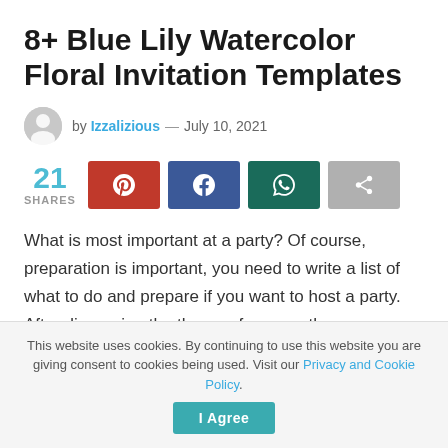8+ Blue Lily Watercolor Floral Invitation Templates
by Izzalizious — July 10, 2021
[Figure (infographic): Social share bar showing 21 shares with Pinterest, Facebook, WhatsApp, and generic share buttons]
What is most important at a party? Of course, preparation is important, you need to write a list of what to do and prepare if you want to host a party. After discussing the theme of course, there are many references on the internet that can serve as examples or you can make your own using imagination and images in your mind. Creativity is indeed
This website uses cookies. By continuing to use this website you are giving consent to cookies being used. Visit our Privacy and Cookie Policy.